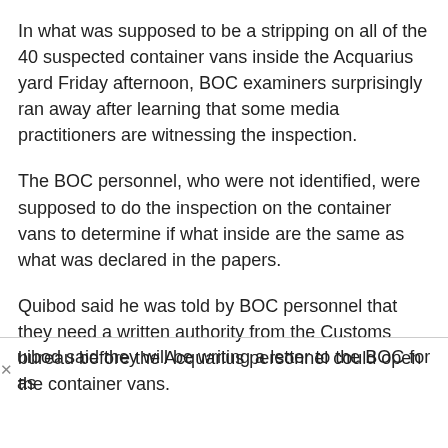In what was supposed to be a stripping on all of the 40 suspected container vans inside the Acquarius yard Friday afternoon, BOC examiners surprisingly ran away after learning that some media practitioners are witnessing the inspection.
The BOC personnel, who were not identified, were supposed to do the inspection on the container vans to determine if what inside are the same as what was declared in the papers.
Quibod said he was told by BOC personnel that they need a written authority from the Customs bureau before the Acquarius personnel could open the container vans.
Quibod said they will be writing a letter to the BOC for as